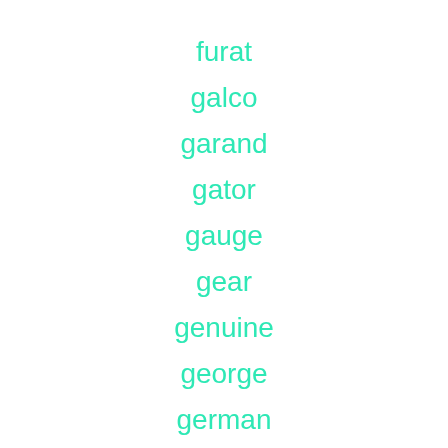furat
galco
garand
gator
gauge
gear
genuine
george
german
glock
good
groot